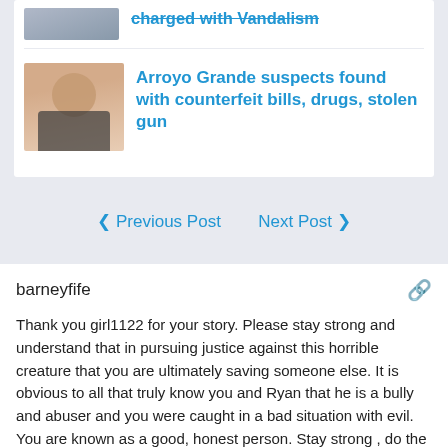[Figure (photo): Thumbnail image of woman, clipped at top]
Arroyo Grande suspects found with counterfeit bills, drugs, stolen gun
◀ Previous Post   Next Post ▶
barneyfife
Thank you girl1122 for your story. Please stay strong and understand that in pursuing justice against this horrible creature that you are ultimately saving someone else. It is obvious to all that truly know you and Ryan that he is a bully and abuser and you were caught in a bad situation with evil. You are known as a good, honest person. Stay strong , do the right thing and please know that you are respected and loved. Good luck